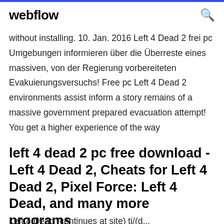webflow
without installing. 10. Jan. 2016 Left 4 Dead 2 frei pc Umgebungen informieren über die Überreste eines massiven, von der Regierung vorbereiteten Evakuierungsversuchs! Free pc Left 4 Dead 2 environments assist inform a story remains of a massive government prepared evacuation attempt! You get a higher experience of the way
left 4 dead 2 pc free download - Left 4 Dead 2, Cheats for Left 4 Dead 2, Pixel Force: Left 4 Dead, and many more programs
Left 4 Dead (continues at site) ti/(d...